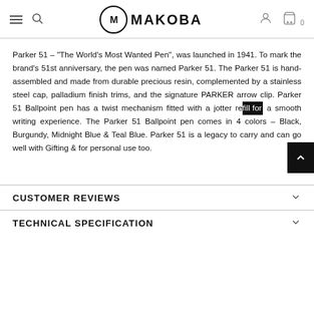MAKOBA
Parker 51 – "The World's Most Wanted Pen", was launched in 1941. To mark the brand's 51st anniversary, the pen was named Parker 51. The Parker 51 is hand-assembled and made from durable precious resin, complemented by a stainless steel cap, palladium finish trims, and the signature PARKER arrow clip. Parker 51 Ballpoint pen has a twist mechanism fitted with a jotter re[fill for] a smooth writing experience. The Parker 51 Ballpoint pen comes in 4 colors – Black, Burgundy, Midnight Blue & Teal Blue. Parker 51 is a legacy to carry and can go well with Gifting & for personal use too.
CUSTOMER REVIEWS
TECHNICAL SPECIFICATION